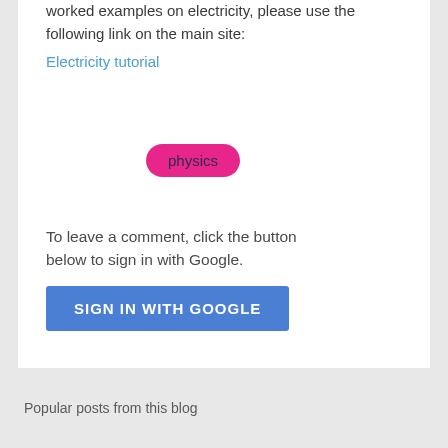For a more comprehensive tutorial with lots of worked examples on electricity, please use the following link on the main site:
Electricity tutorial
[Figure (other): Pink pill-shaped tag/label with the word 'physics']
To leave a comment, click the button below to sign in with Google.
[Figure (other): Blue button labeled 'SIGN IN WITH GOOGLE']
Popular posts from this blog